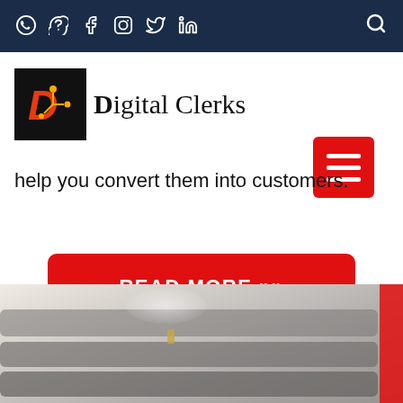Digital Clerks website header with social icons (WhatsApp, Skype, Facebook, Instagram, Twitter, LinkedIn) and search icon
[Figure (logo): Digital Clerks logo: black square with orange/red stylized D and circuit dot icon, followed by text 'Digital Clerks' in serif font]
[Figure (other): Red hamburger menu button with three white horizontal bars]
help you convert them into customers.
[Figure (other): Red rounded button with white bold text: READ MORE >>]
[Figure (photo): Blurry photo of gray striped sofa or upholstered furniture, partially visible, with red accent on right edge]